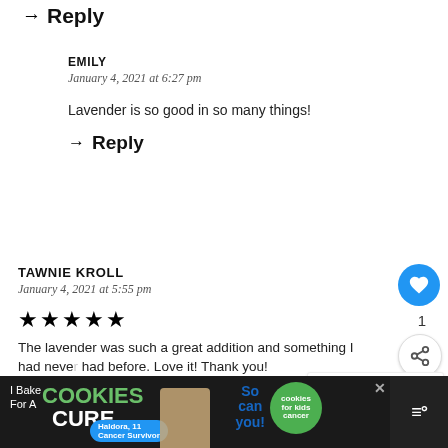→ Reply
EMILY
January 4, 2021 at 6:27 pm
Lavender is so good in so many things!
→ Reply
TAWNIE KROLL
January 4, 2021 at 5:55 pm
[Figure (other): Five filled black stars indicating a 5-star rating]
The lavender was such a great addition and something I had never had before. Love it! Thank you!
→ Reply
[Figure (other): Blue circular heart/like button with count of 1, and a share button]
[Figure (other): What's Next panel showing Lemon Lavender Tart with thumbnail]
[Figure (other): Advertisement banner: I Bake COOKIES For A CURE - Haldora, 11 Cancer Survivor - So can you! - cookies for kids cancer]